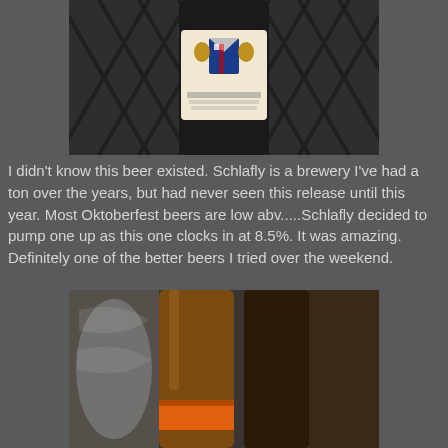[Figure (photo): Close-up of a beer bottle label showing a Bavarian coat of arms with lions, on a lattice outdoor table background]
I didn't know this beer existed. Schlafly is a brewery I've had a ton over the years, but had never seen this release until this year. Most Oktoberfest beers are low abv.....Schlafly decided to pump one up as this one clocks in at 8.5%.  It was amazing. Definitely one of the better beers I tried over the weekend.
[Figure (photo): Close-up of amber beer bottles with an orange label, alongside a glass, on an outdoor table]